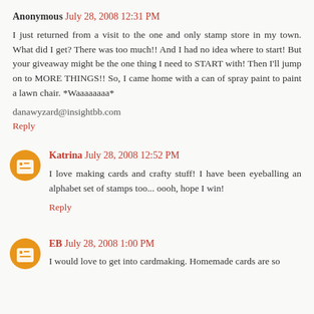Anonymous July 28, 2008 12:31 PM
I just returned from a visit to the one and only stamp store in my town. What did I get? There was too much!! And I had no idea where to start! But your giveaway might be the one thing I need to START with! Then I'll jump on to MORE THINGS!! So, I came home with a can of spray paint to paint a lawn chair. *Waaaaaaaa*
danawyzard@insightbb.com
Reply
Katrina July 28, 2008 12:52 PM
I love making cards and crafty stuff! I have been eyeballing an alphabet set of stamps too... oooh, hope I win!
Reply
EB July 28, 2008 1:00 PM
I would love to get into cardmaking. Homemade cards are so